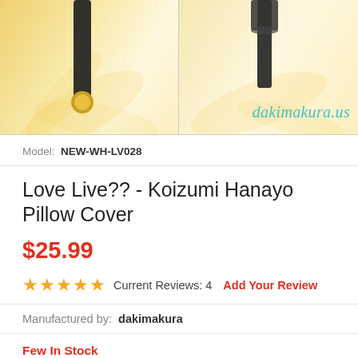[Figure (photo): Product image showing two views of a dakimakura pillow cover on a cream/gold floral background, with the watermark 'dakimakura.us' in cyan italic text]
Model: NEW-WH-LV028
Love Live?? - Koizumi Hanayo Pillow Cover
$25.99
★★★★★ Current Reviews: 4  Add Your Review
Manufactured by: dakimakura
Few In Stock
Dimension